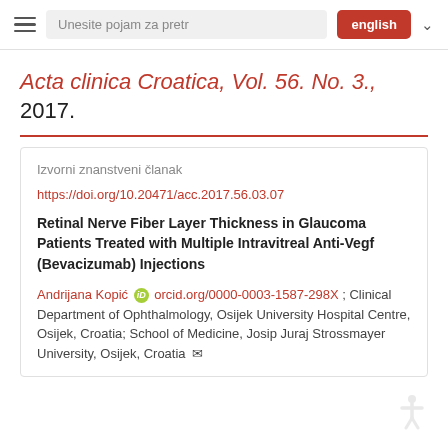Unesite pojam za pretr | english
Acta clinica Croatica, Vol. 56. No. 3., 2017.
Izvorni znanstveni članak
https://doi.org/10.20471/acc.2017.56.03.07
Retinal Nerve Fiber Layer Thickness in Glaucoma Patients Treated with Multiple Intravitreal Anti-Vegf (Bevacizumab) Injections
Andrijana Kopić orcid.org/0000-0003-1587-298X ; Clinical Department of Ophthalmology, Osijek University Hospital Centre, Osijek, Croatia; School of Medicine, Josip Juraj Strossmayer University, Osijek, Croatia